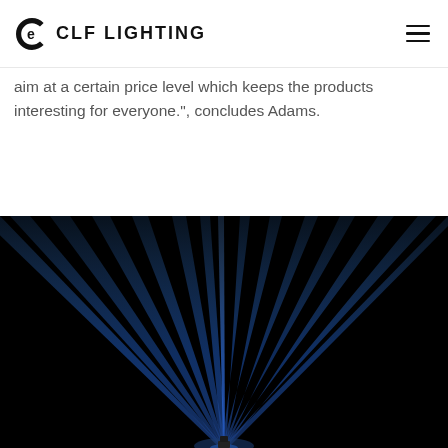CLF LIGHTING
aim at a certain price level which keeps the products interesting for everyone.", concludes Adams.
[Figure (photo): Wide-angle photo of multiple blue stage lighting beams radiating outward from a central point below, against a dark night sky background. Dramatic concert/event lighting effect.]